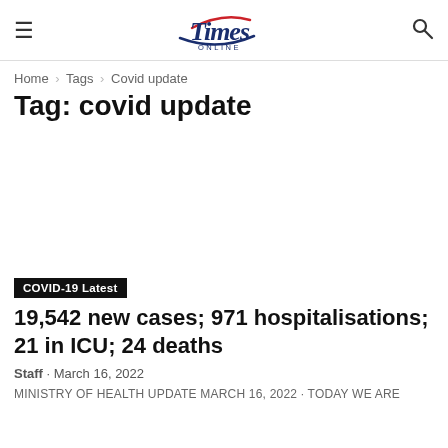[Figure (logo): Times Online logo with hamburger menu icon on left and search icon on right]
Home › Tags › Covid update
Tag: covid update
[Figure (other): Advertisement placeholder area]
COVID-19 Latest
19,542 new cases; 971 hospitalisations; 21 in ICU; 24 deaths
Staff · March 16, 2022
MINISTRY OF HEALTH UPDATE March 16, 2022 · Today we are